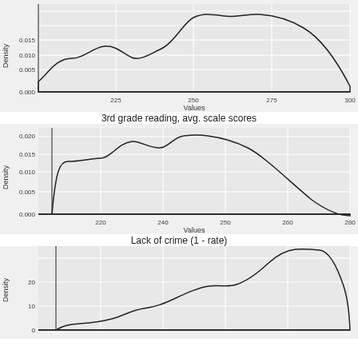[Figure (continuous-plot): Density plot of values ranging from ~205 to 300, with two peaks around 225 (density ~0.011) and 275 (density ~0.015). Y-axis labeled Density (0.000 to 0.015), X-axis labeled Values (225 to 300).]
3rd grade reading, avg. scale scores
[Figure (continuous-plot): Density plot of values ranging from ~210 to 280, with two peaks around 240 (density ~0.019) and 250 (density ~0.020). Y-axis labeled Density (0.000 to 0.020), X-axis labeled Values (220 to 280).]
Lack of crime (1 - rate)
[Figure (continuous-plot): Density plot with values rising from ~0 to peak density ~25 near the right side. Y-axis labeled Density (0 to 20+), X-axis partially visible.]